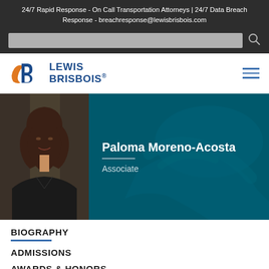24/7 Rapid Response - On Call Transportation Attorneys | 24/7 Data Breach Response - breachresponse@lewisbrisbois.com
[Figure (logo): Lewis Brisbois law firm logo with stylized B icon in orange and blue, with text LEWIS BRISBOIS]
[Figure (photo): Professional headshot of Paloma Moreno-Acosta, a woman with long dark hair wearing a dark blazer, against a bookcase background]
Paloma Moreno-Acosta
Associate
BIOGRAPHY
ADMISSIONS
AWARDS & HONORS